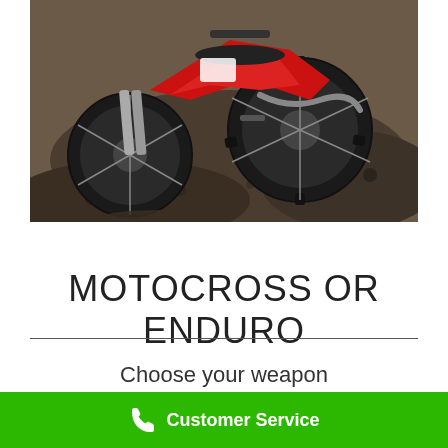[Figure (photo): Close-up photo of a motocross dirt bike (red) on a muddy/dirt track, showing the front wheel and lower part of the motorcycle with dirt terrain in background]
MOTOCROSS OR ENDURO
Choose your weapon
Customer Service